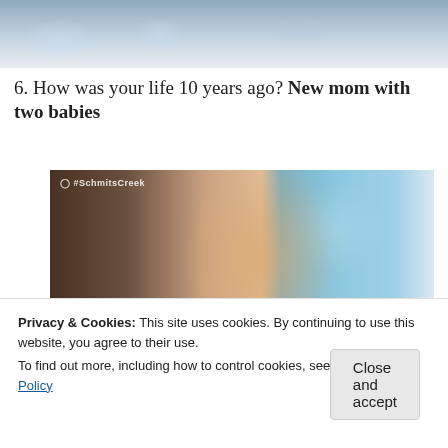[Figure (photo): Partial view of an outdoor scene with a fountain and buildings, cropped at top of page]
6. How was your life 10 years ago? New mom with two babies
[Figure (photo): Screenshot from CBC's Schitt's Creek showing a woman in a teal/turquoise sweatshirt with a cat graphic, smiling; a man visible in background]
Privacy & Cookies: This site uses cookies. By continuing to use this website, you agree to their use.
To find out more, including how to control cookies, see here: Cookie Policy
Close and accept